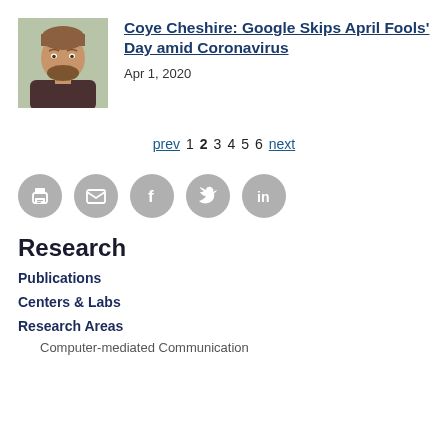[Figure (photo): Headshot photo of a smiling man with beard and short hair, wearing a dark shirt, outdoor background]
Coye Cheshire: Google Skips April Fools' Day amid Coronavirus
Apr 1, 2020
prev 1 2 3 4 5 6 next
[Figure (infographic): Row of five social sharing icon buttons: print, email, facebook, twitter, linkedin — all grey circles with white icons]
Research
Publications
Centers & Labs
Research Areas
Computer-mediated Communication